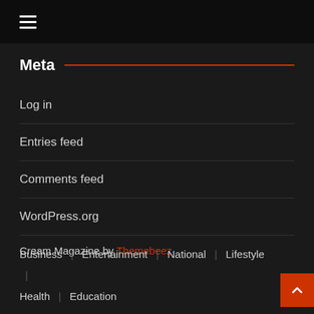[Figure (other): Dark top navigation bar with hamburger menu icon (three white horizontal lines)]
Meta
Log in
Entries feed
Comments feed
WordPress.org
Cream Magazine by Themebeez
Business | Entertainment | National | Lifestyle | Health | Education